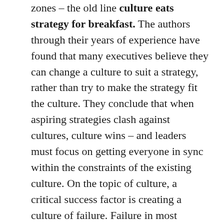zones – the old line culture eats strategy for breakfast. The authors through their years of experience have found that many executives believe they can change a culture to suit a strategy, rather than try to make the strategy fit the culture. They conclude that when aspiring strategies clash against cultures, culture wins – and leaders must focus on getting everyone in sync within the constraints of the existing culture. On the topic of culture, a critical success factor is creating a culture of failure. Failure in most traditional companies is not viewed in a way that encourages people to attempt new things. How many of us have been involved in efforts that should have been shut down, but were not because the sponsor would not acknowledge failure?  Or how many good ideas